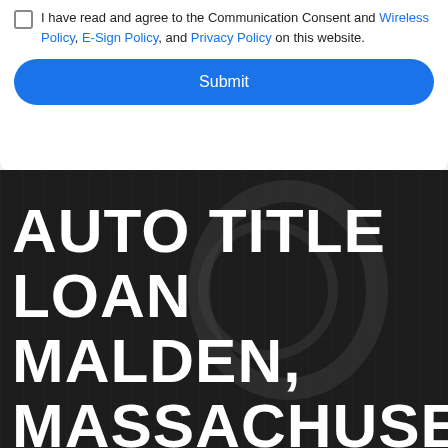I have read and agree to the Communication Consent and Wireless Policy, E-Sign Policy, and Privacy Policy on this website.
Submit
AUTO TITLE LOAN MALDEN, MASSACHUSETTS